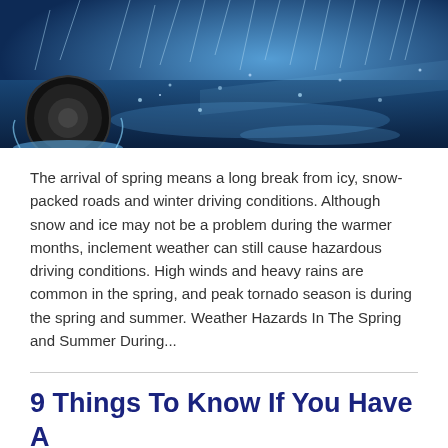[Figure (photo): Close-up photo of a car tire on a wet road with heavy rain and water splashing, blue-toned image]
The arrival of spring means a long break from icy, snow-packed roads and winter driving conditions. Although snow and ice may not be a problem during the warmer months, inclement weather can still cause hazardous driving conditions. High winds and heavy rains are common in the spring, and peak tornado season is during the spring and summer. Weather Hazards In The Spring and Summer During...
9 Things To Know If You Have A